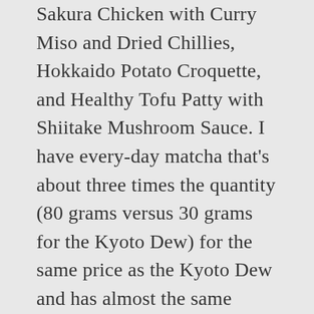Sakura Chicken with Curry Miso and Dried Chillies, Hokkaido Potato Croquette, and Healthy Tofu Patty with Shiitake Mushroom Sauce. I have every-day matcha that's about three times the quantity (80 grams versus 30 grams for the Kyoto Dew) for the same price as the Kyoto Dew and has almost the same taste. 1 Ounce (Pack of 1) 4.6 out of 5 stars 615. Opening Hours: 10am – 10pm (Mon – Sun). This is its first outlet in South-East Asia, located at the revamped basement level of Suntec City (the escalator leading to the money changer). The dishes taste, em, healthy. PIPES by Hattendo (Dorsett Residences), Maccha House Singapore Let's not forget about some of the home-grown brands we